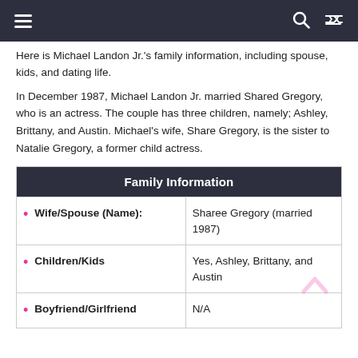Navigation header with hamburger menu, search, and shuffle icons
Here is Michael Landon Jr.'s family information, including spouse, kids, and dating life.
In December 1987, Michael Landon Jr. married Shared Gregory, who is an actress. The couple has three children, namely; Ashley, Brittany, and Austin. Michael's wife, Share Gregory, is the sister to Natalie Gregory, a former child actress.
| Family Information |  |
| --- | --- |
| Wife/Spouse (Name): | Sharee Gregory (married 1987) |
| Children/Kids | Yes, Ashley, Brittany, and Austin |
| Boyfriend/Girlfriend | N/A |